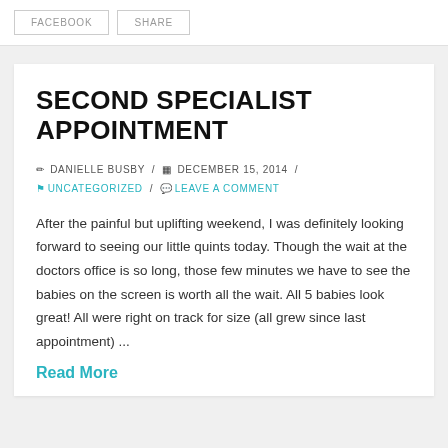FACEBOOK | SHARE
SECOND SPECIALIST APPOINTMENT
✏ DANIELLE BUSBY / ▦ DECEMBER 15, 2014 / ⚑ UNCATEGORIZED / 💬 LEAVE A COMMENT
After the painful but uplifting weekend, I was definitely looking forward to seeing our little quints today. Though the wait at the doctors office is so long, those few minutes we have to see the babies on the screen is worth all the wait. All 5 babies look great! All were right on track for size (all grew since last appointment) ...
Read More